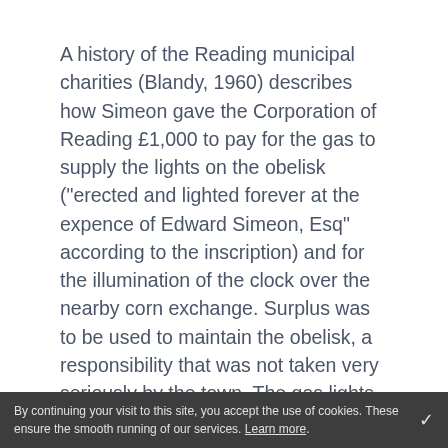A history of the Reading municipal charities (Blandy, 1960) describes how Simeon gave the Corporation of Reading £1,000 to pay for the gas to supply the lights on the obelisk ("erected and lighted forever at the expence of Edward Simeon, Esq" according to the inscription) and for the illumination of the clock over the nearby corn exchange. Surplus was to be used to maintain the obelisk, a responsibility that was not taken very seriously by the town. The gas lights (which in fact replaced earlier oil lamps) went out before the first world war, and as the obelisk decayed it shared a number of indignities including (for many years), a large road
By continuing your visit to this site, you accept the use of cookies. These ensure the smooth running of our services. Learn more.